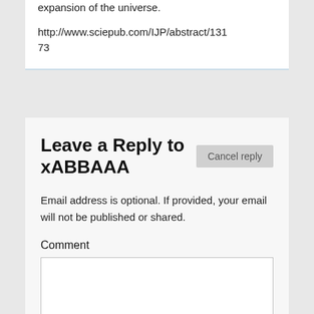expansion of the universe.
http://www.sciepub.com/IJP/abstract/13173
Leave a Reply to xABBAAA
Email address is optional. If provided, your email will not be published or shared.
Comment